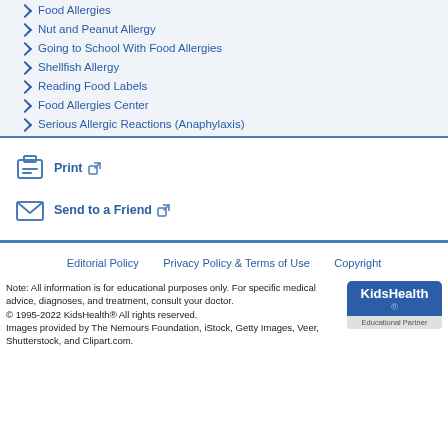Food Allergies
Nut and Peanut Allergy
Going to School With Food Allergies
Shellfish Allergy
Reading Food Labels
Food Allergies Center
Serious Allergic Reactions (Anaphylaxis)
Print
Send to a Friend
Editorial Policy   Privacy Policy & Terms of Use   Copyright
Note: All information is for educational purposes only. For specific medical advice, diagnoses, and treatment, consult your doctor.
© 1995-2022 KidsHealth® All rights reserved.
Images provided by The Nemours Foundation, iStock, Getty Images, Veer, Shutterstock, and Clipart.com.